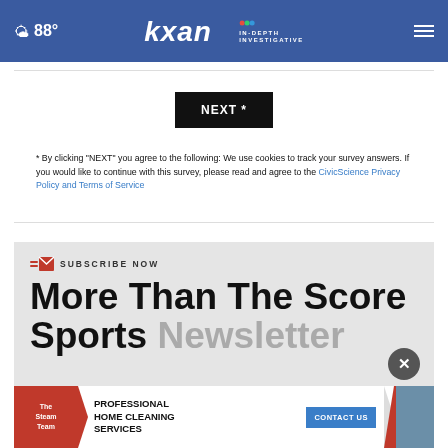☁ 88° | KXAN IN-DEPTH INVESTIGATIVE
NEXT *
* By clicking "NEXT" you agree to the following: We use cookies to track your survey answers. If you would like to continue with this survey, please read and agree to the CivicScience Privacy Policy and Terms of Service
SUBSCRIBE NOW
More Than The Score Sports Newsletter
[Figure (infographic): Ad banner: The Steam Team - Professional Home Cleaning Services - Contact Us button - person in mask on right side]